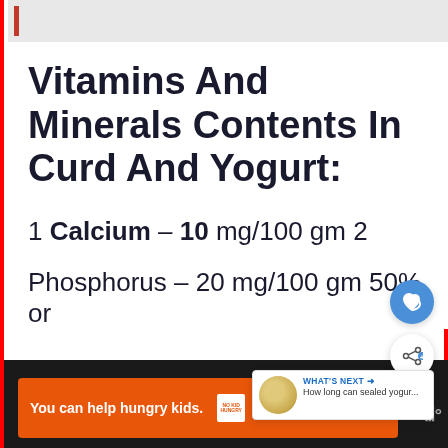Vitamins And Minerals Contents In Curd And Yogurt:
1 Calcium – 10 mg/100 gm 2
Phosphorus – 20 mg/100 gm 50% or
You can help hungry kids. NO KID HUNGRY LEARN HOW